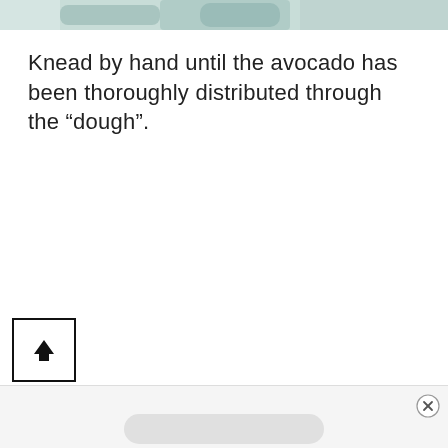[Figure (photo): Partial view of a food preparation photo at the top of the page, showing a bowl or dish with light teal/green coloring]
Knead by hand until the avocado has been thoroughly distributed through the “dough”.
[Figure (other): Square button with upward-pointing arrow icon, used for navigation (scroll to top)]
[Figure (other): Bottom advertisement bar with close (X) button and a pill-shaped ad placeholder]